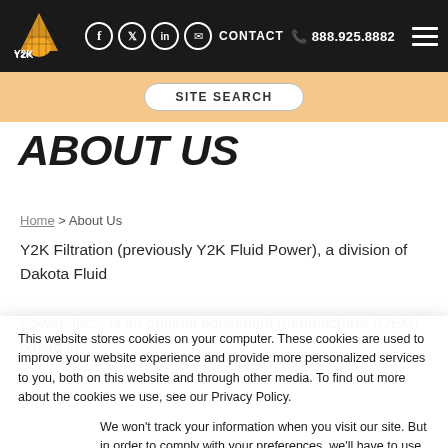Y2K Filtration | Facebook | Twitter | LinkedIn | Email | CONTACT | 888.925.8882 | Menu
SITE SEARCH
ABOUT US
Home > About Us
Y2K Filtration (previously Y2K Fluid Power), a division of Dakota Fluid Power, Inc.,  is an original equipment manufacturer (OEM) based in
This website stores cookies on your computer. These cookies are used to improve your website experience and provide more personalized services to you, both on this website and through other media. To find out more about the cookies we use, see our Privacy Policy.
We won't track your information when you visit our site. But in order to comply with your preferences, we'll have to use just one tiny cookie so that you're not asked to make this choice again.
Accept
Decline